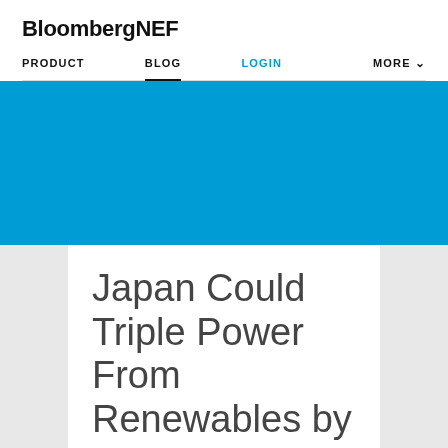BloombergNEF
PRODUCT   BLOG   LOGIN   MORE
[Figure (illustration): Solid blue hero banner/image area]
Japan Could Triple Power From Renewables by